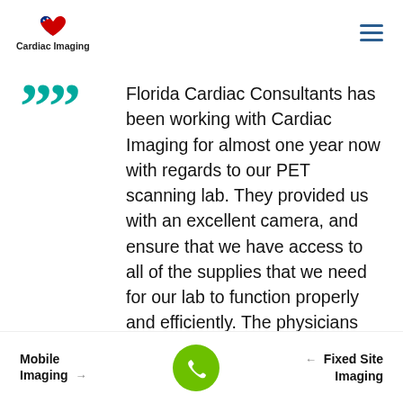Cardiac Imaging
Florida Cardiac Consultants has been working with Cardiac Imaging for almost one year now with regards to our PET scanning lab. They provided us with an excellent camera, and ensure that we have access to all of the supplies that we need for our lab to function properly and efficiently. The physicians are very pleased with the quality of the camera images, and support has been excellent during the very few times that we have needed to contact them. Needless to say that we are very pleased working with this organization and plan on partnering with them for a very
Mobile Imaging → | Phone | ← Fixed Site Imaging